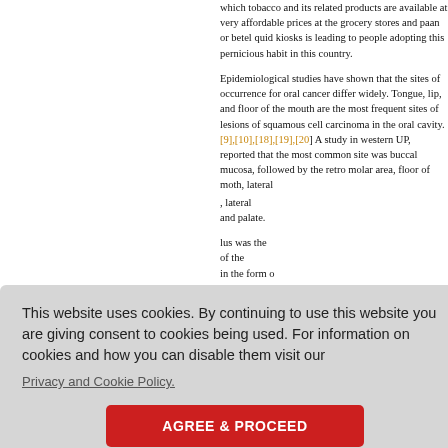which tobacco and its related products are available at very affordable prices at the grocery stores and paan or betel quid kiosks is leading to people adopting this pernicious habit in this country.
Epidemiological studies have shown that the sites of occurrence for oral cancer differ widely. Tongue, lip, and floor of the mouth are the most frequent sites of lesions of squamous cell carcinoma in the oral cavity. [9],[10],[18],[19],[20] A study in western UP, reported that the most common site was buccal mucosa, followed by the retro molar area, floor of moth, lateral ..., and palate.
This website uses cookies. By continuing to use this website you are giving consent to cookies being used. For information on cookies and how you can disable them visit our
Privacy and Cookie Policy.
AGREE & PROCEED